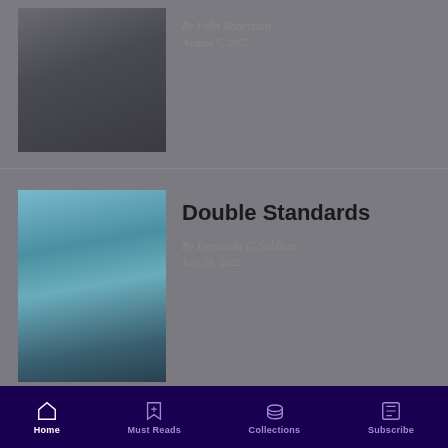[Figure (photo): Photo of a person leaving 10 Downing Street, London]
By Felix Robertson
August 5, 2022
[Figure (photo): Photo of an ICC (International Criminal Court) flag waving in front of a building]
Double Standards
By Fernando C. Saldivar
July 28, 2022
Home  Must Reads  Collections  Subscribe